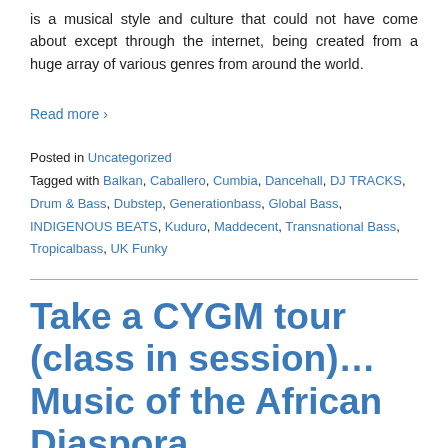is a musical style and culture that could not have come about except through the internet, being created from a huge array of various genres from around the world.
Read more ›
Posted in Uncategorized
Tagged with Balkan, Caballero, Cumbia, Dancehall, DJ TRACKS, Drum & Bass, Dubstep, Generationbass, Global Bass, INDIGENOUS BEATS, Kuduro, Maddecent, Transnational Bass, Tropicalbass, UK Funky
Take a CYGM tour (class in session)… Music of the African Diaspora